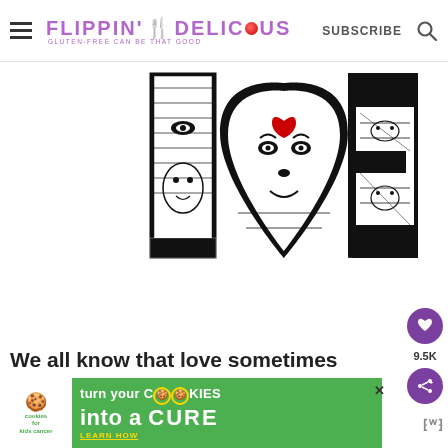FLIPPIN' DELICIOUS — GLUTEN-FREE CAN BE THAT GOOD | SUBSCRIBE
[Figure (illustration): Black and white decorative LOVE lettering artwork with face illustrations inside each letter. The O is shaped as a heart. Small red heart detail visible inside the O letter.]
We all know that love sometimes...
[Figure (infographic): Green advertisement banner for 'cookies for kids cancer' — turn your COOKIES into a CURE. LEARN HOW.]